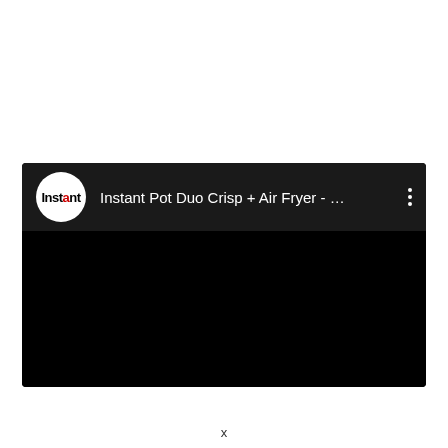[Figure (screenshot): A video card UI element with a black background. Shows the Instant Pot brand logo (white circle with 'Instant' text, 'a' in red) as the channel avatar on the left, followed by the truncated video title 'Instant Pot Duo Crisp + Air Fryer - …' in white text, and a vertical three-dot menu icon on the right. The video content area is entirely black.]
x